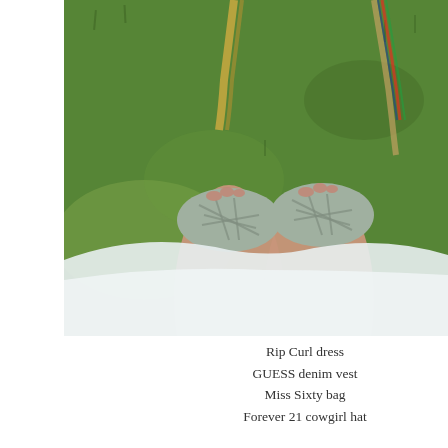[Figure (photo): Overhead view of a person's feet wearing light grey woven/lattice sandals, standing on green grass. A white skirt/dress is visible in the lower portion. Two braided bag straps (one straw-coloured and one with multicolour) are visible at the top of the image.]
Rip Curl dress
GUESS denim vest
Miss Sixty bag
Forever 21 cowgirl hat